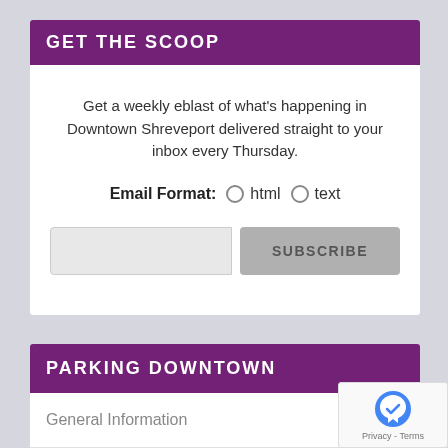GET THE SCOOP
Get a weekly eblast of what's happening in Downtown Shreveport delivered straight to your inbox every Thursday.
Email Format:  ○ html  ○ text
[Figure (screenshot): Email input field and SUBSCRIBE button]
PARKING DOWNTOWN
General Information
[Figure (logo): reCAPTCHA logo with Privacy - Terms text]